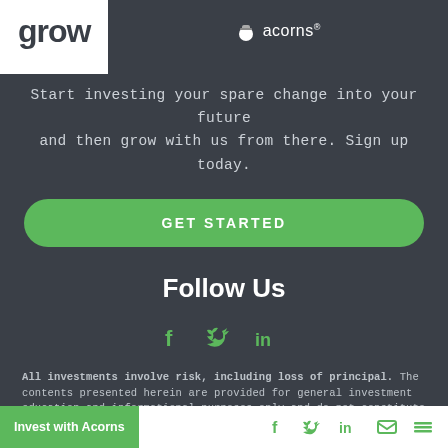grow | acorns®
Start investing your spare change into your future and then grow with us from there. Sign up today.
GET STARTED
Follow Us
[Figure (illustration): Social media icons: Facebook (f), Twitter (bird), LinkedIn (in)]
All investments involve risk, including loss of principal. The contents presented herein are provided for general investment education and informational purposes only and do not constitute an offer to sell or a solicitation to buy any specific securities or engage in
Invest with Acorns